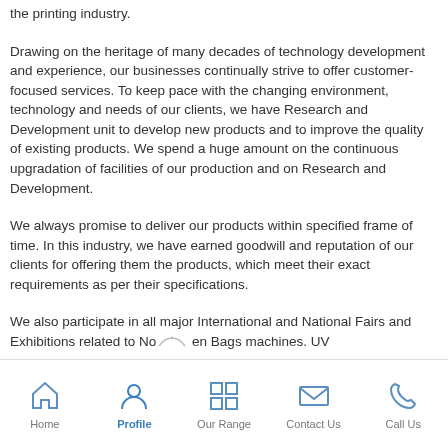the printing industry.
Drawing on the heritage of many decades of technology development and experience, our businesses continually strive to offer customer-focused services. To keep pace with the changing environment, technology and needs of our clients, we have Research and Development unit to develop new products and to improve the quality of existing products. We spend a huge amount on the continuous upgradation of facilities of our production and on Research and Development.
We always promise to deliver our products within specified frame of time. In this industry, we have earned goodwill and reputation of our clients for offering them the products, which meet their exact requirements as per their specifications.
We also participate in all major International and National Fairs and Exhibitions related to Non Woven Bags machines. UV
Home  Profile  Our Range  Contact Us  Call Us